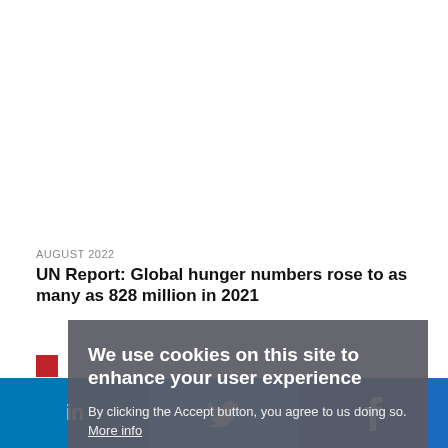AUGUST 2022
UN Report: Global hunger numbers rose to as many as 828 million in 2021
[Figure (screenshot): Cookie consent overlay with title 'We use cookies on this site to enhance your user experience', body text 'By clicking the Accept button, you agree to us doing so. More info', and two buttons: ACCEPT and NO, THANKS]
Social share bar with LinkedIn, Twitter, and Facebook icons